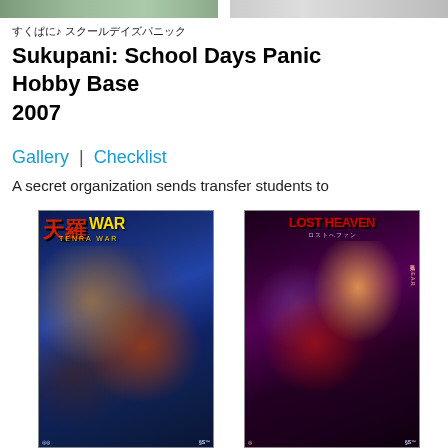[Figure (photo): Top strip showing partial book/manga cover images at top of page]
すくぱに♪ スクールデイズパニック
Sukupani: School Days Panic
Hobby Base
2007
Gallery | Checklist
A secret organization sends transfer students to
[Figure (photo): Manga cover: Tenra War (天羅WAR) - anime style action cover with characters in battle]
[Figure (photo): Manga cover: Lost Heaven - anime style cover with female characters]